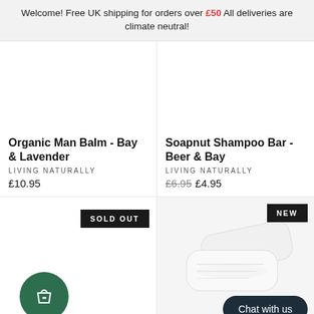Welcome! Free UK shipping for orders over £50 All deliveries are climate neutral!
Organic Man Balm - Bay & Lavender
LIVING NATURALLY
£10.95
Soapnut Shampoo Bar - Beer & Bay
LIVING NATURALLY
£6.95  £4.95
[Figure (infographic): SOLD OUT badge on dark background]
[Figure (infographic): NEW badge, soap bar product discs image, Chat with us button, shopping bag icon]
Chat with us